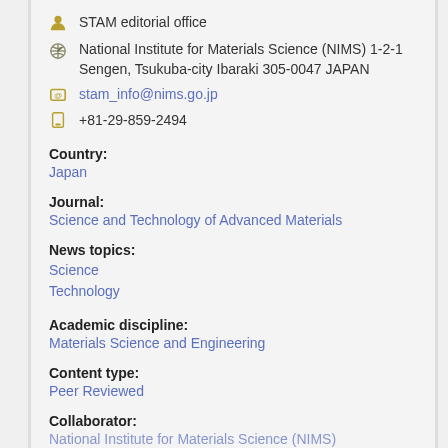STAM editorial office
National Institute for Materials Science (NIMS) 1-2-1 Sengen, Tsukuba-city Ibaraki 305-0047 JAPAN
stam_info@nims.go.jp
+81-29-859-2494
Country:
Japan
Journal:
Science and Technology of Advanced Materials
News topics:
Science
Technology
Academic discipline:
Materials Science and Engineering
Content type:
Peer Reviewed
Collaborator:
National Institute for Materials Science (NIMS)